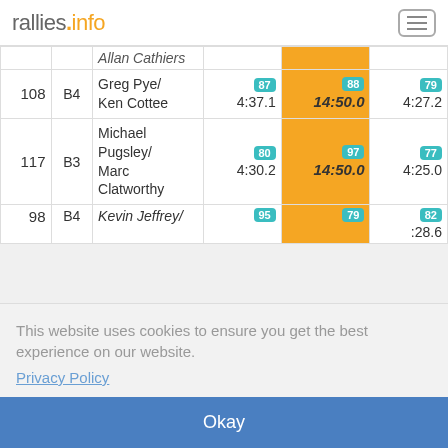rallies.info
| # | Cat | Name | SS | SS | SS |
| --- | --- | --- | --- | --- | --- |
|  |  | Allan Cathiers |  |  |  |
| 108 | B4 | Greg Pye/ Ken Cottee | 87 4:37.1 | 88 14:50.0 | 79 4:27.2 |
| 117 | B3 | Michael Pugsley/ Marc Clatworthy | 80 4:30.2 | 97 14:50.0 | 77 4:25.0 |
| 98 | B4 | Kevin Jeffrey/ | 95 | 79 | 82 :28.6 |
|  |  |  |  |  | 81 :28.0 |
|  |  |  |  |  | 94 :36.3 |
|  |  | Boyar Bhan | 4:45.0 | 14:50.0 | :36.3 |
This website uses cookies to ensure you get the best experience on our website.
Privacy Policy
Okay